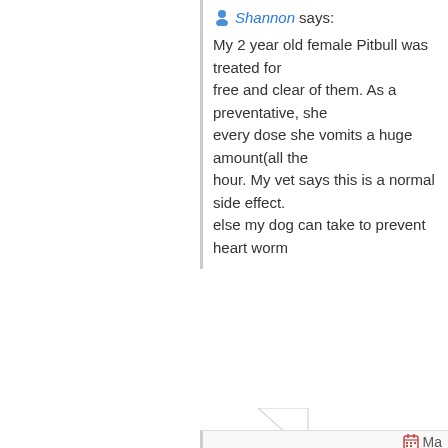Shannon says: My 2 year old female Pitbull was treated for free and clear of them. As a preventative, she every dose she vomits a huge amount(all the hour. My vet says this is a normal side effect. else my dog can take to prevent heart worm
Dr. J. M. Meehan says: I have a Sheltie. When he was 14 months old zonisimide. They continued. Cluster seizures phenobarbitol. They continued. Doubled the gabapentin. Reduced frequency but still had Seizures STOPPED. Has been off trifexis for 5 seizure free. He is still on the three meds for phenobaritol and will ween him off of that if exact records but we believe that he went or